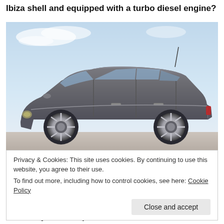Ibiza shell and equipped with a turbo diesel engine?
[Figure (photo): Side profile photo of a dark grey SEAT Ibiza hatchback car parked on a sandy/rocky surface with a light blue sky background.]
Privacy & Cookies: This site uses cookies. By continuing to use this website, you agree to their use.
To find out more, including how to control cookies, see here: Cookie Policy
Close and accept
limited by few compromises